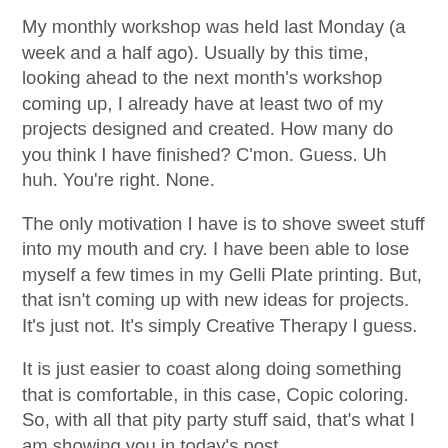My monthly workshop was held last Monday (a week and a half ago). Usually by this time, looking ahead to the next month's workshop coming up, I already have at least two of my projects designed and created. How many do you think I have finished? C'mon. Guess. Uh huh. You're right. None.
The only motivation I have is to shove sweet stuff into my mouth and cry. I have been able to lose myself a few times in my Gelli Plate printing. But, that isn't coming up with new ideas for projects. It's just not. It's simply Creative Therapy I guess.
It is just easier to coast along doing something that is comfortable, in this case, Copic coloring. So, with all that pity party stuff said, that's what I am showing you in today's post.
[Figure (photo): Artwork photo showing Gelli Plate printed pieces with abstract colorful patterns in yellow, red, and earth tones, layered on a dark red/maroon background, on a gray surface.]